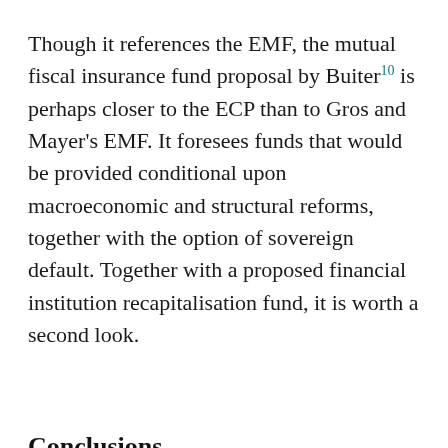Though it references the EMF, the mutual fiscal insurance fund proposal by Buiter¹⁰ is perhaps closer to the ECP than to Gros and Mayer’s EMF. It foresees funds that would be provided conditional upon macroeconomic and structural reforms, together with the option of sovereign default. Together with a proposed financial institution recapitalisation fund, it is worth a second look.
Conclusions
On 12 May 2010, the European Commission demanded “reinforcing economic policy coordination” in the euro area.¹¹ It proposed